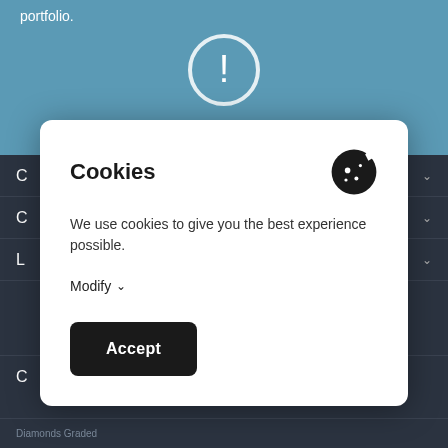portfolio.
[Figure (illustration): Alert / warning circle icon with exclamation mark, white outline on blue background]
[Figure (screenshot): Cookie consent modal dialog with title 'Cookies', cookie icon, body text 'We use cookies to give you the best experience possible.', Modify dropdown link, and Accept button]
We use cookies to give you the best experience possible.
Modify
Accept
Diamonds Graded